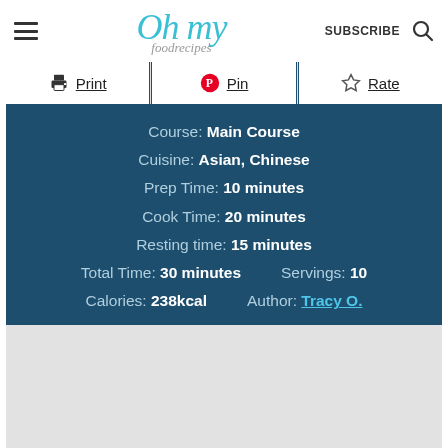Oh my foodrecipes | SUBSCRIBE
Print | Pin | Rate
Course: Main Course
Cuisine: Asian, Chinese
Prep Time: 10 minutes
Cook Time: 20 minutes
Resting time: 15 minutes
Total Time: 30 minutes   Servings: 10
Calories: 238kcal   Author: Tracy O.